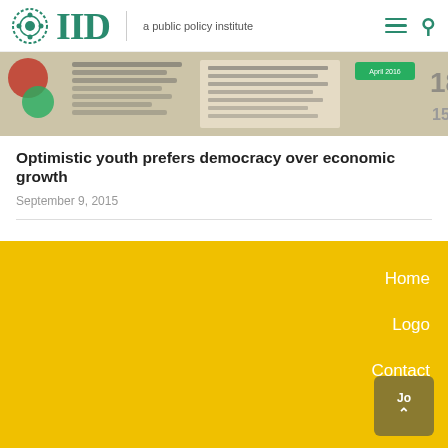IID a public policy institute
[Figure (photo): Infographic document screenshot showing circles, charts, numbers and text related to a Bangladesh youth survey report]
Optimistic youth prefers democracy over economic growth
September 9, 2015
Home
Logo
Contact
Jobs